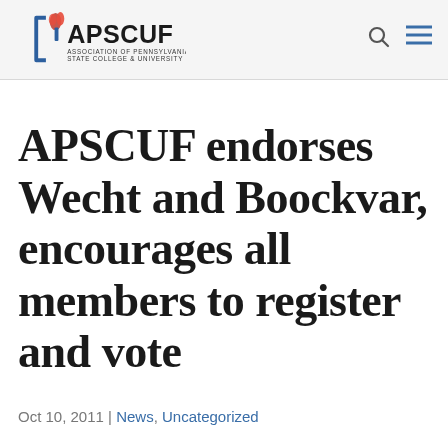[Figure (logo): APSCUF logo — Association of Pennsylvania State College & University Faculties, with torch icon in red/blue]
APSCUF endorses Wecht and Boockvar, encourages all members to register and vote
Oct 10, 2011 | News, Uncategorized